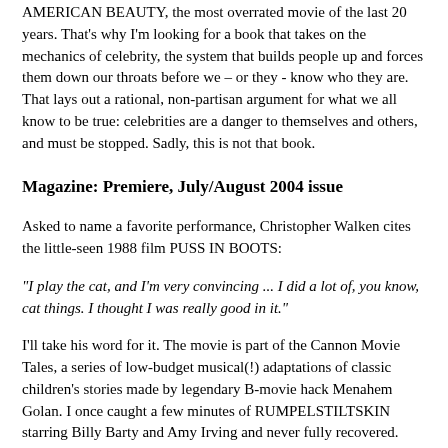AMERICAN BEAUTY, the most overrated movie of the last 20 years. That's why I'm looking for a book that takes on the mechanics of celebrity, the system that builds people up and forces them down our throats before we – or they - know who they are. That lays out a rational, non-partisan argument for what we all know to be true: celebrities are a danger to themselves and others, and must be stopped. Sadly, this is not that book.
Magazine: Premiere, July/August 2004 issue
Asked to name a favorite performance, Christopher Walken cites the little-seen 1988 film PUSS IN BOOTS:
“I play the cat, and I’m very convincing ... I did a lot of, you know, cat things. I thought I was really good in it.”
I’ll take his word for it. The movie is part of the Cannon Movie Tales, a series of low-budget musical(!) adaptations of classic children’s stories made by legendary B-movie hack Menahem Golan. I once caught a few minutes of RUMPELSTILTSKIN starring Billy Barty and Amy Irving and never fully recovered. Other entries include THE